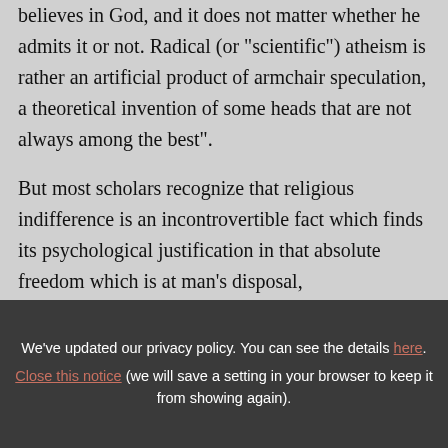believes in God, and it does not matter whether he admits it or not. Radical (or "scientific") atheism is rather an artificial product of armchair speculation, a theoretical invention of some heads that are not always among the best".
But most scholars recognize that religious indifference is an incontrovertible fact which finds its psychological justification in that absolute freedom which is at man's disposal,
We've updated our privacy policy. You can see the details here. Close this notice (we will save a setting in your browser to keep it from showing again).